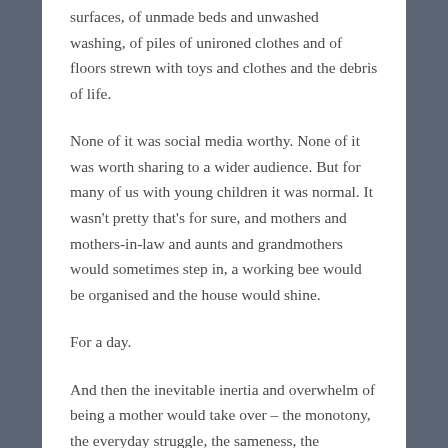surfaces, of unmade beds and unwashed washing, of piles of unironed clothes and of floors strewn with toys and clothes and the debris of life.
None of it was social media worthy. None of it was worth sharing to a wider audience. But for many of us with young children it was normal. It wasn't pretty that's for sure, and mothers and mothers-in-law and aunts and grandmothers would sometimes step in, a working bee would be organised and the house would shine.
For a day.
And then the inevitable inertia and overwhelm of being a mother would take over – the monotony, the everyday struggle, the sameness, the mundane decision-making (should I do the ironing first or the vacuuming?), the inevitability of mundanity. Nothing to look forward to